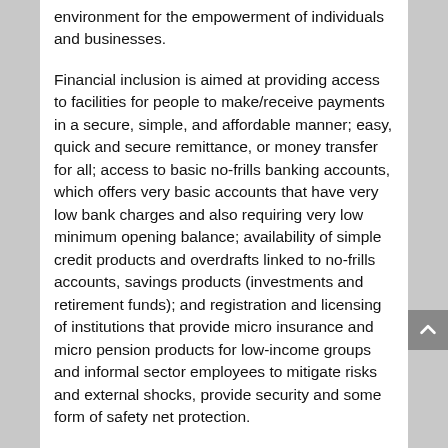environment for the empowerment of individuals and businesses.
Financial inclusion is aimed at providing access to facilities for people to make/receive payments in a secure, simple, and affordable manner; easy, quick and secure remittance, or money transfer for all; access to basic no-frills banking accounts, which offers very basic accounts that have very low bank charges and also requiring very low minimum opening balance; availability of simple credit products and overdrafts linked to no-frills accounts, savings products (investments and retirement funds); and registration and licensing of institutions that provide micro insurance and micro pension products for low-income groups and informal sector employees to mitigate risks and external shocks, provide security and some form of safety net protection.
Overall, financial inclusion aims to bring all role players, both public and private, together to promote an inclusive financial system. Thus, effective public and private partnerships are